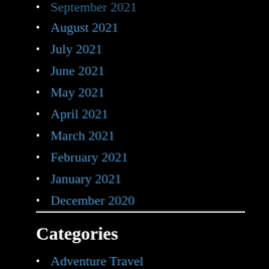September 2021
August 2021
July 2021
June 2021
May 2021
April 2021
March 2021
February 2021
January 2021
December 2020
Categories
Adventure Travel
Arts and Entertainment